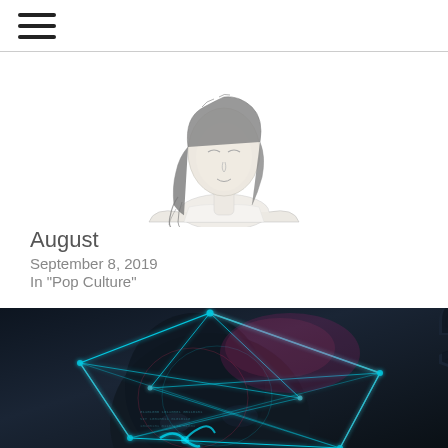[Figure (illustration): Pencil sketch illustration of a woman with long flowing dark hair, seen from shoulders up, looking to the side, on white background]
August
September 8, 2019
In "Pop Culture"
[Figure (photo): Glitch-art style photo of a person with geometric cyan/teal wireframe overlaid on face and head, with 'ADO' text vertically on the right side, dark moody aesthetic with cyan and pink color glitch effects]